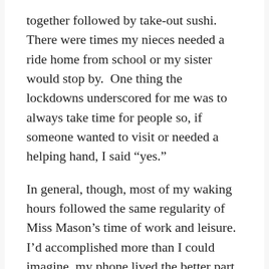together followed by take-out sushi. There were times my nieces needed a ride home from school or my sister would stop by. One thing the lockdowns underscored for me was to always take time for people so, if someone wanted to visit or needed a helping hand, I said “yes.”
In general, though, most of my waking hours followed the same regularity of Miss Mason’s time of work and leisure. I’d accomplished more than I could imagine, my phone lived the better part of a month in a kitchen drawer, Sundays became that “day of delicious leisure,” I was able to stay focused on the task at hand, and nature, good conversation, and my books were a constant source of refreshment.[8]
My thirty days ended just in time to begin a season of